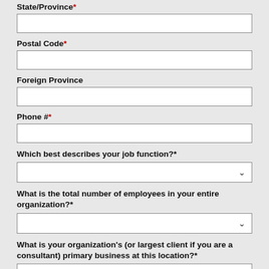State/Province*
Postal Code*
Foreign Province
Phone #*
Which best describes your job function?*
What is the total number of employees in your entire organization?*
What is your organization's (or largest client if you are a consultant) primary business at this location?*